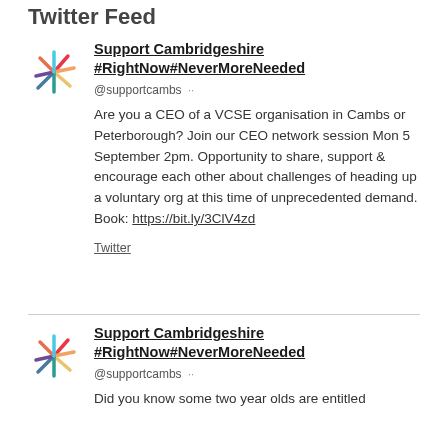Twitter Feed
[Figure (logo): Support Cambridgeshire colorful asterisk/star logo - first tweet]
Support Cambridgeshire #RightNow#NeverMoreNeeded
@supportcambs
Are you a CEO of a VCSE organisation in Cambs or Peterborough? Join our CEO network session Mon 5 September 2pm. Opportunity to share, support & encourage each other about challenges of heading up a voluntary org at this time of unprecedented demand. Book: https://bit.ly/3ClV4zd
Twitter
[Figure (logo): Support Cambridgeshire colorful asterisk/star logo - second tweet]
Support Cambridgeshire #RightNow#NeverMoreNeeded
@supportcambs
Did you know some two year olds are entitled